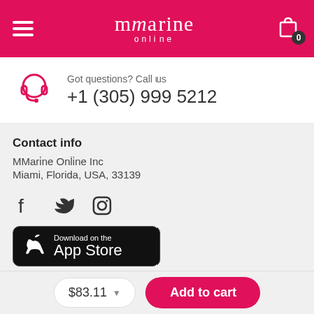mmarine online
Got questions? Call us
+1 (305) 999 5212
Contact info
MMarine Online Inc
Miami, Florida, USA, 33139
[Figure (other): Social media icons: Facebook, Twitter, Instagram]
[Figure (other): Download on the App Store button]
$83.11
Add to cart